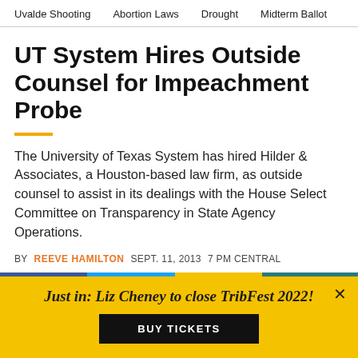Uvalde Shooting   Abortion Laws   Drought   Midterm Ballot
UT System Hires Outside Counsel for Impeachment Probe
The University of Texas System has hired Hilder & Associates, a Houston-based law firm, as outside counsel to assist in its dealings with the House Select Committee on Transparency in State Agency Operations.
BY REEVE HAMILTON   SEPT. 11, 2013   7 PM CENTRAL
[Figure (infographic): Social sharing buttons: Facebook, Twitter, Email, Copy Link]
Just in: Liz Cheney to close TribFest 2022! BUY TICKETS